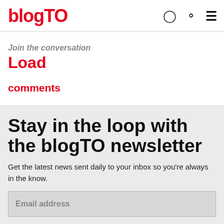blogTO
Join the conversation
Load

comments
Stay in the loop with the blogTO newsletter
Get the latest news sent daily to your inbox so you're always in the know.
Email address